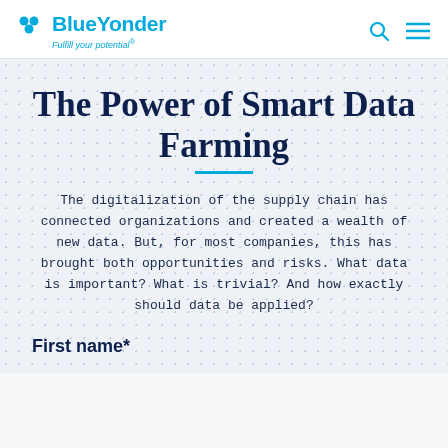BlueYonder — Fulfill your potential®
The Power of Smart Data Farming
The digitalization of the supply chain has connected organizations and created a wealth of new data. But, for most companies, this has brought both opportunities and risks. What data is important? What is trivial? And how exactly should data be applied?
First name*